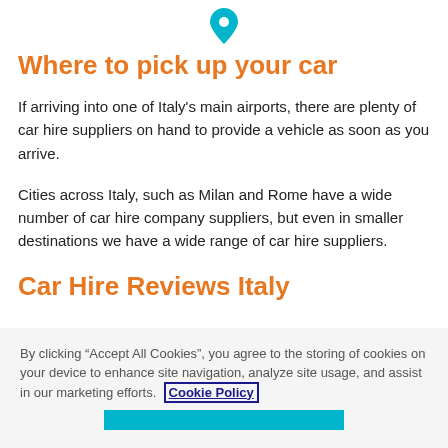[Figure (illustration): Teal map location pin icon pointing downward]
Where to pick up your car
If arriving into one of Italy's main airports, there are plenty of car hire suppliers on hand to provide a vehicle as soon as you arrive.
Cities across Italy, such as Milan and Rome have a wide number of car hire company suppliers, but even in smaller destinations we have a wide range of car hire suppliers.
Car Hire Reviews Italy
“The pick-up was easy, it took 5 minutes from arriving at the
By clicking “Accept All Cookies”, you agree to the storing of cookies on your device to enhance site navigation, analyze site usage, and assist in our marketing efforts. Cookie Policy